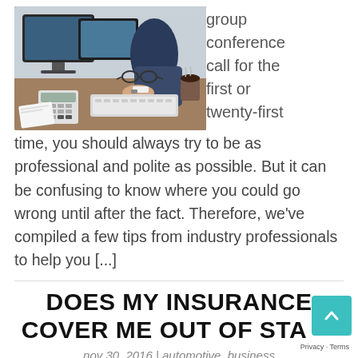[Figure (photo): Person in business suit typing on a keyboard at a desk with a calculator, glasses, and papers visible]
group conference call for the first or twenty-first
time, you should always try to be as professional and polite as possible. But it can be confusing to know where you could go wrong until after the fact. Therefore, we've compiled a few tips from industry professionals to help you [...]
DOES MY INSURANCE COVER ME OUT OF STA
nov 30, 2016 | automotive, business